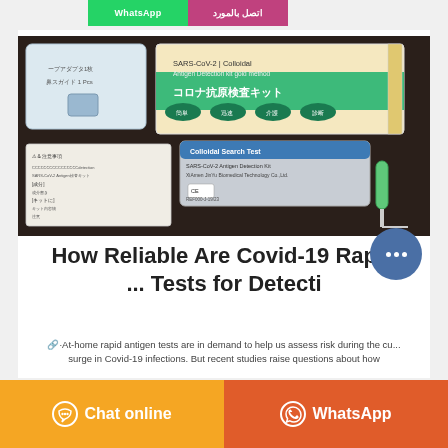[Figure (other): Two buttons: green WhatsApp button and pink Arabic contact button at the top]
[Figure (photo): Photo of SARS-CoV-2 antigen detection kit (COVID-19 rapid test kit) with Japanese text 'コロナ抗原検査キット', showing the box, test strip packet, and swab components on a dark background]
How Reliable Are Covid-19 Rapid ... Tests for Detecti
🔗·At-home rapid antigen tests are in demand to help us assess risk during the cu... surge in Covid-19 infections. But recent studies raise questions about how
[Figure (other): Orange 'Chat online' button with chat icon on the left, and red-orange 'WhatsApp' button with WhatsApp icon on the right, at the bottom of the page]